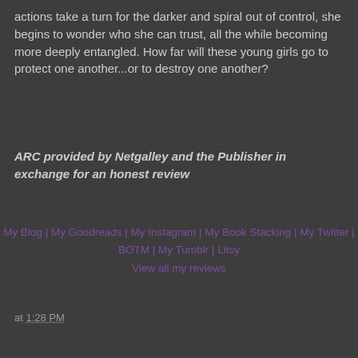actions take a turn for the darker and spiral out of control, she begins to wonder who she can trust, all the while becoming more deeply entangled. How far will these young girls go to protect one another...or to destroy one another?
ARC provided by Netgalley and the Publisher in exchange for an honest review
My Blog | My Goodreads | My Instagram | My Book Stacking | My Twitter | BOTM | My Tumblr | Litsy
View all my reviews
at 1:28 PM
Share